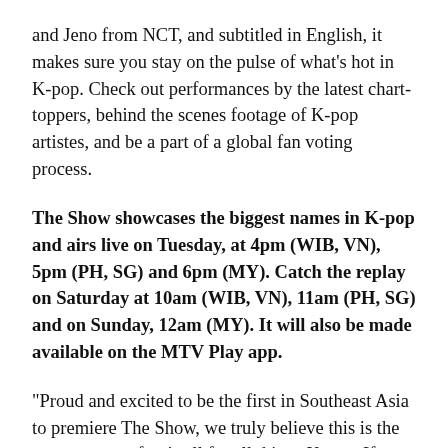and Jeno from NCT, and subtitled in English, it makes sure you stay on the pulse of what's hot in K-pop. Check out performances by the latest chart-toppers, behind the scenes footage of K-pop artistes, and be a part of a global fan voting process.
The Show showcases the biggest names in K-pop and airs live on Tuesday, at 4pm (WIB, VN), 5pm (PH, SG) and 6pm (MY). Catch the replay on Saturday at 10am (WIB, VN), 11am (PH, SG) and on Sunday, 12am (MY). It will also be made available on the MTV Play app.
“Proud and excited to be the first in Southeast Asia to premiere The Show, we truly believe this is the answer to our fans’ call for all things K-pop. If